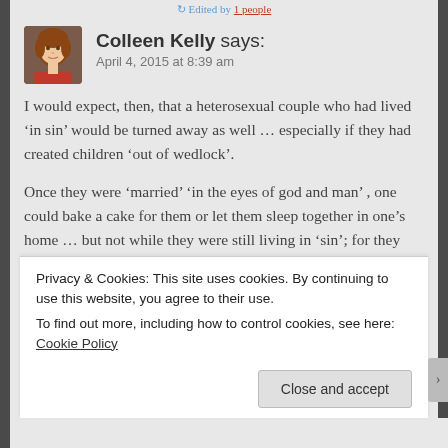Edited by 1 people
[Figure (photo): Avatar photo of Colleen Kelly, a woman with reddish-brown hair wearing a red top]
Colleen Kelly says:
April 4, 2015 at 8:39 am
I would expect, then, that a heterosexual couple who had lived ‘in sin’ would be turned away as well … especially if they had created children ‘out of wedlock’.
Once they were ‘married’ ‘in the eyes of god and man’ , one could bake a cake for them or let them sleep together in one’s home … but not while they were still living in ‘sin’; for they had not forsaken their evil ways … just because
Privacy & Cookies: This site uses cookies. By continuing to use this website, you agree to their use.
To find out more, including how to control cookies, see here: Cookie Policy
Close and accept